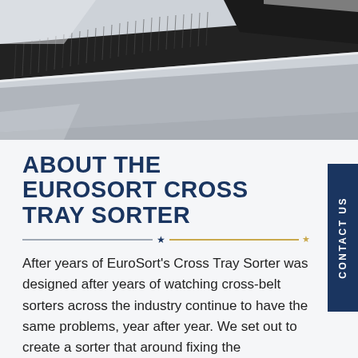[Figure (photo): Close-up photograph of a cross tray sorter mechanism showing black rubber belt/brush components on metallic silver trays, industrial sorting equipment]
ABOUT THE EUROSORT CROSS TRAY SORTER
After years of EuroSort's Cross Tray Sorter was designed after years of watching cross-belt sorters across the industry continue to have the same problems, year after year. We set out to create a sorter that around fixing the